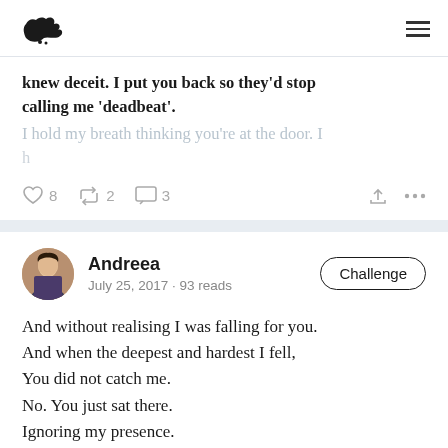Wattpad logo and navigation menu
knew deceit. I put you back so they'd stop calling me 'deadbeat'.
I hold my breath thinking you're at the door. I
♡ 8   ↺ 2   ☐ 3
Andreea · July 25, 2017 · 93 reads · Challenge
And without realising I was falling for you.
And when the deepest and hardest I fell,
You did not catch me.
No. You just sat there.
Ignoring my presence.
Hell. Sometimes even my existence.
And finally I made you confess.